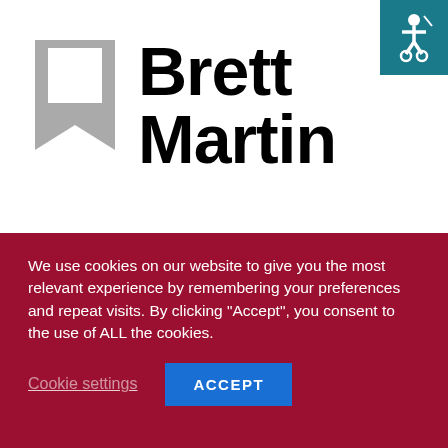[Figure (logo): Brett Martin logo with grey bookmark/ribbon icon and bold black text reading Brett Martin]
[Figure (illustration): Accessibility icon (wheelchair symbol) on teal/dark cyan background, top right corner]
RECENT POSTS
Oldham ticket details
We use cookies on our website to give you the most relevant experience by remembering your preferences and repeat visits. By clicking "Accept", you consent to the use of ALL the cookies.
Cookie settings   ACCEPT